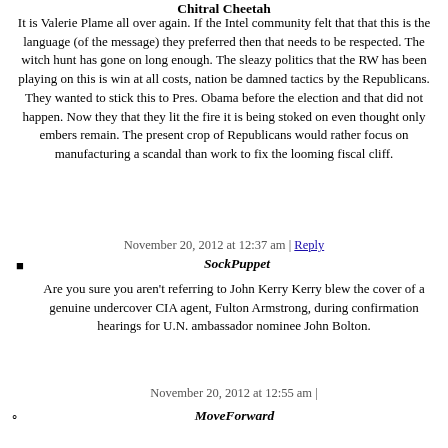Chitral Cheetah
It is Valerie Plame all over again. If the Intel community felt that that this is the language (of the message) they preferred then that needs to be respected. The witch hunt has gone on long enough. The sleazy politics that the RW has been playing on this is win at all costs, nation be damned tactics by the Republicans. They wanted to stick this to Pres. Obama before the election and that did not happen. Now they that they lit the fire it is being stoked on even thought only embers remain. The present crop of Republicans would rather focus on manufacturing a scandal than work to fix the looming fiscal cliff.
November 20, 2012 at 12:37 am | Reply
SockPuppet
Are you sure you aren't referring to John Kerry Kerry blew the cover of a genuine undercover CIA agent, Fulton Armstrong, during confirmation hearings for U.N. ambassador nominee John Bolton.
November 20, 2012 at 12:55 am |
MoveForward